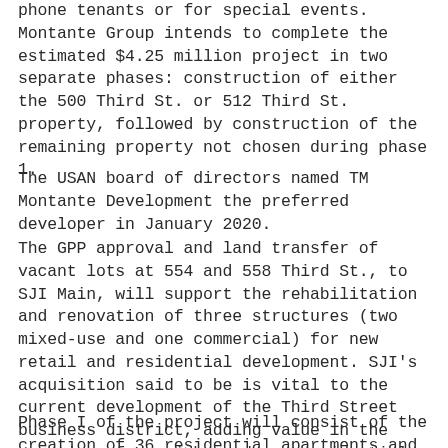phone tenants or for special events. Montante Group intends to complete the estimated $4.25 million project in two separate phases: construction of either the 500 Third St. or 512 Third St. property, followed by construction of the remaining property not chosen during phase 1.
The USAN board of directors named TM Montante Development the preferred developer in January 2020.
The GPP approval and land transfer of vacant lots at 554 and 558 Third St., to SJI Main, will support the rehabilitation and renovation of three structures (two mixed-use and one commercial) for new retail and residential development. SJI's acquisition said to be is vital to the current development of the Third Street business district, adding value in the creation of new jobs and new residential opportunities.
Phase I of the project will consist of the creation of 36 residential apartments and six commercial spaces